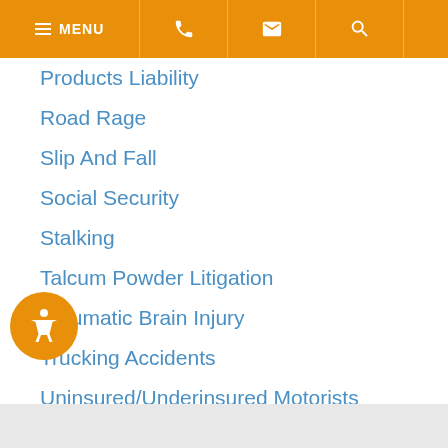MENU
Products Liability
Road Rage
Slip And Fall
Social Security
Stalking
Talcum Powder Litigation
Traumatic Brain Injury
Trucking Accidents
Uninsured/Underinsured Motorists
Workplace Accidents
Wrongful Death
ntac Injury